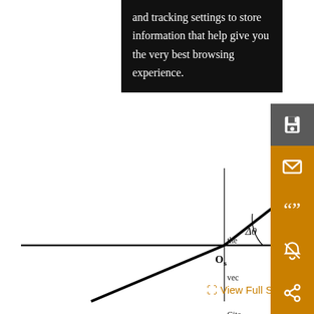and tracking settings to store information that help give you the very best browsing experience.
[Figure (engineering-diagram): A 2D coordinate geometry diagram showing a horizontal axis labeled l1, a vertical axis, origin labeled Os, two vectors/lines from the origin — one going upper-right (labeled u) and one going lower-left — with an arc indicating angle delta-theta (Δθ) between the horizontal axis and the upper-right vector.]
View Full Size
att
refe
syst
the
vec
Cita
of A
and